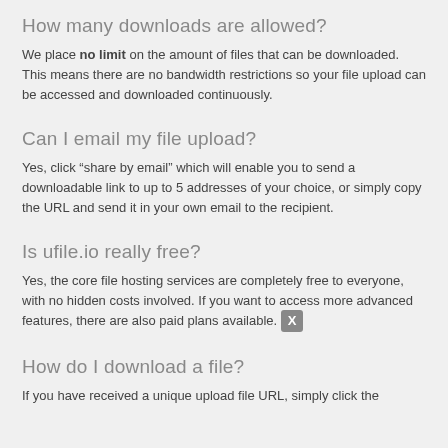How many downloads are allowed?
We place no limit on the amount of files that can be downloaded. This means there are no bandwidth restrictions so your file upload can be accessed and downloaded continuously.
Can I email my file upload?
Yes, click "share by email" which will enable you to send a downloadable link to up to 5 addresses of your choice, or simply copy the URL and send it in your own email to the recipient.
Is ufile.io really free?
Yes, the core file hosting services are completely free to everyone, with no hidden costs involved. If you want to access more advanced features, there are also paid plans available.
How do I download a file?
If you have received a unique upload file URL, simply click the